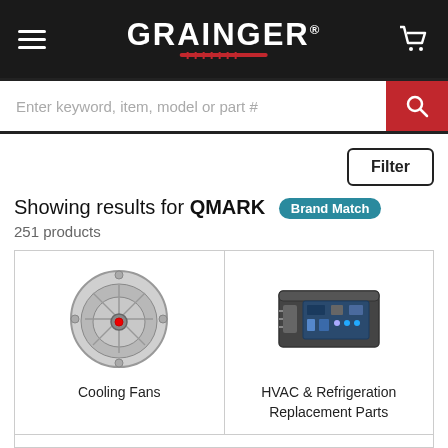GRAINGER
Enter keyword, item, model or part #
Filter
Showing results for QMARK Brand Match
251 products
[Figure (photo): Cooling fan product image - circular metallic fan]
Cooling Fans
[Figure (photo): HVAC & Refrigeration Replacement Parts product image - rectangular electronic control box]
HVAC & Refrigeration Replacement Parts